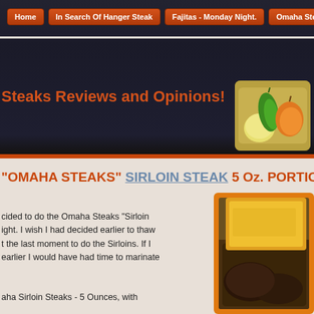Home | In Search Of Hanger Steak | Fajitas - Monday Night. | Omaha Stea...
Steaks Reviews and Opinions!
[Figure (photo): Thumbnail of vegetables including green pepper, orange pepper, and onion on a cutting board]
[Figure (photo): Thumbnail of a bottle of sauce or marinade]
"OMAHA STEAKS" SIRLOIN STEAK 5 Oz. PORTIO...
cided to do the Omaha Steaks "Sirloin ight. I wish I had decided earlier to thaw t the last moment to do the Sirloins. If I earlier I would have had time to marinate
aha Sirloin Steaks - 5 Ounces, with
[Figure (photo): Photo of Omaha Sirloin Steaks in packaging with orange/yellow wrapper on a grill surface]